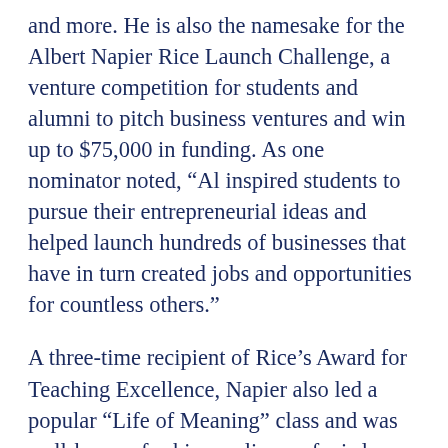and more. He is also the namesake for the Albert Napier Rice Launch Challenge, a venture competition for students and alumni to pitch business ventures and win up to $75,000 in funding. As one nominator noted, “Al inspired students to pursue their entrepreneurial ideas and helped launch hundreds of businesses that have in turn created jobs and opportunities for countless others.”
A three-time recipient of Rice’s Award for Teaching Excellence, Napier also led a popular “Life of Meaning” class and was well-known for his one-liners of wisdom, many of which stuck with students long after they left campus. “Rice is a wonderful